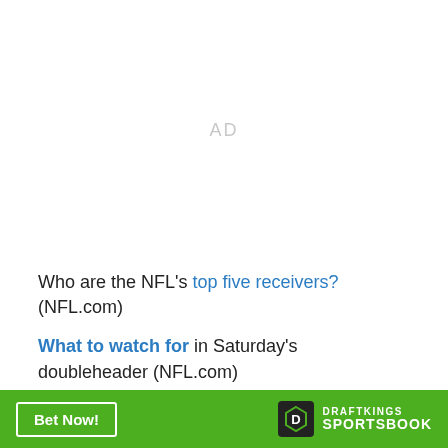[Figure (other): AD placeholder area — gray 'AD' text centered in a large white space]
Who are the NFL's top five receivers? (NFL.com)
What to watch for in Saturday's doubleheader (NFL.com)
[Figure (other): DraftKings Sportsbook advertisement banner — green background with white 'Bet Now!' button on left and DraftKings Sportsbook logo on right]